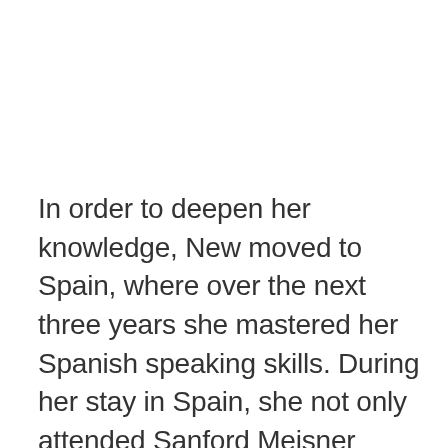In order to deepen her knowledge, New moved to Spain, where over the next three years she mastered her Spanish speaking skills. During her stay in Spain, she not only attended Sanford Meisner Actors Workshop, but she also caught the eye of a modeling scout and soon after joined one of the leading modeling agencies in the country – View Management – through which she landed various modeling engagements in Madrid and Barcelona. After returning to London, Hannah enrolled at the prestigious Royal Central School of Speech & Drama at the University of London, from which she graduated in December 2011 with a